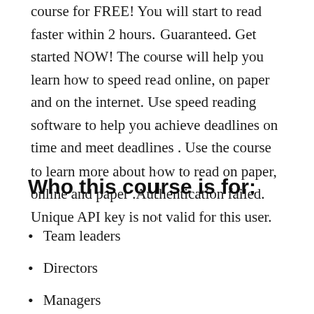course for FREE! You will start to read faster within 2 hours. Guaranteed. Get started NOW! The course will help you learn how to speed read online, on paper and on the internet. Use speed reading software to help you achieve deadlines on time and meet deadlines . Use the course to learn more about how to read on paper, online and paper .Authentication failed. Unique API key is not valid for this user.
Who this course is for:
Team leaders
Directors
Managers